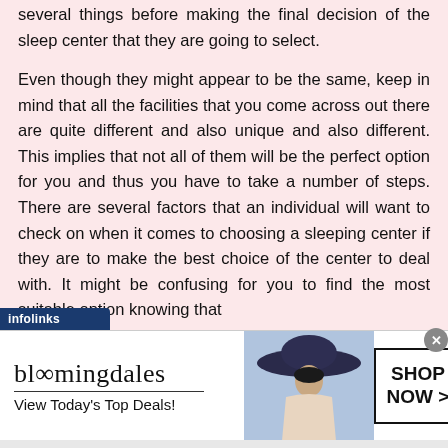suitable one for them. One will need to check on several things before making the final decision of the sleep center that they are going to select.
Even though they might appear to be the same, keep in mind that all the facilities that you come across out there are quite different and also unique and also different. This implies that not all of them will be the perfect option for you and thus you have to take a number of steps. There are several factors that an individual will want to check on when it comes to choosing a sleeping center if they are to make the best choice of the center to deal with. It might be confusing for you to find the most suitable option knowing that they are all different. Consider evaluating and assessing
[Figure (other): Bloomingdale's advertisement banner with logo, 'View Today's Top Deals!' text, a woman in a wide-brimmed hat, and a 'SHOP NOW >' button. An infolinks overlay bar appears at the top left of the ad.]